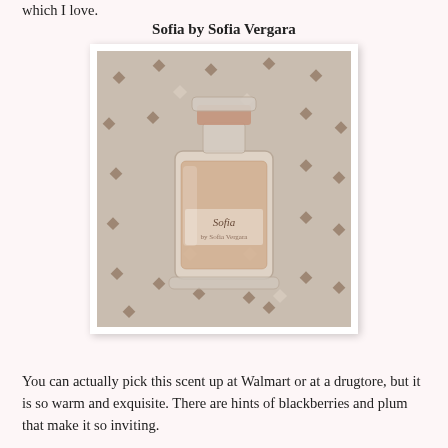which I love.
Sofia by Sofia Vergara
[Figure (photo): A glass perfume bottle labeled 'Sofia by Sofia Vergara' with a rose gold cap, placed on a patterned beige surface with small dark diamond shapes.]
You can actually pick this scent up at Walmart or at a drugtore, but it is so warm and exquisite. There are hints of blackberries and plum that make it so inviting.